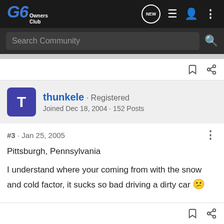G6 Owners Club — navigation bar with Search Community
[Figure (screenshot): G6 Owners Club logo with navigation icons (NEW badge, list, user, more)]
Search Community
thunkele · Registered
Joined Dec 18, 2004 · 152 Posts
#3 · Jan 25, 2005
Pittsburgh, Pennsylvania
I understand where your coming from with the snow and cold factor, it sucks so bad driving a dirty car 😕